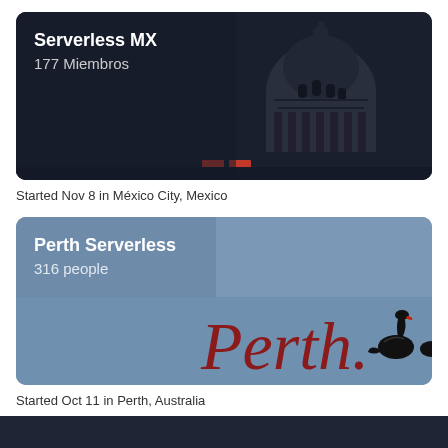[Figure (screenshot): Serverless MX group card with dark background showing a domed building silhouette (Mexico City), bold white title 'Serverless MX', subtext '177 Miembros']
Started Nov 8 in México City, Mexico
[Figure (screenshot): Perth Serverless group card with blue-grey background showing 'Perth.' text in dark red with black swan silhouette, bold white title 'Perth Serverless', subtext '316 people']
Started Oct 11 in Perth, Australia